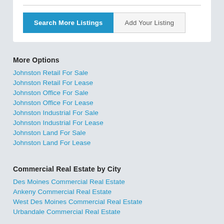[Figure (screenshot): White card with horizontal divider line at top and two buttons: 'Search More Listings' (blue) and 'Add Your Listing' (light gray outline)]
More Options
Johnston Retail For Sale
Johnston Retail For Lease
Johnston Office For Sale
Johnston Office For Lease
Johnston Industrial For Sale
Johnston Industrial For Lease
Johnston Land For Sale
Johnston Land For Lease
Commercial Real Estate by City
Des Moines Commercial Real Estate
Ankeny Commercial Real Estate
West Des Moines Commercial Real Estate
Urbandale Commercial Real Estate